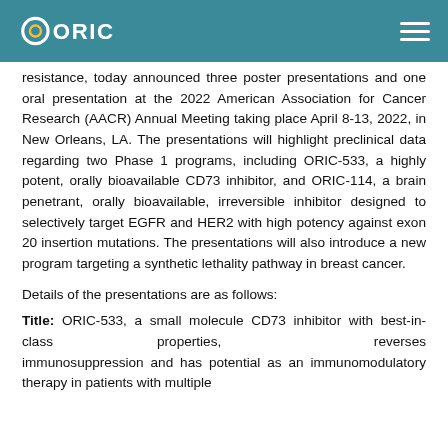ORIC
resistance, today announced three poster presentations and one oral presentation at the 2022 American Association for Cancer Research (AACR) Annual Meeting taking place April 8-13, 2022, in New Orleans, LA. The presentations will highlight preclinical data regarding two Phase 1 programs, including ORIC-533, a highly potent, orally bioavailable CD73 inhibitor, and ORIC-114, a brain penetrant, orally bioavailable, irreversible inhibitor designed to selectively target EGFR and HER2 with high potency against exon 20 insertion mutations. The presentations will also introduce a new program targeting a synthetic lethality pathway in breast cancer.
Details of the presentations are as follows:
Title: ORIC-533, a small molecule CD73 inhibitor with best-in-class properties, reverses immunosuppression and has potential as an immunomodulatory therapy in patients with multiple